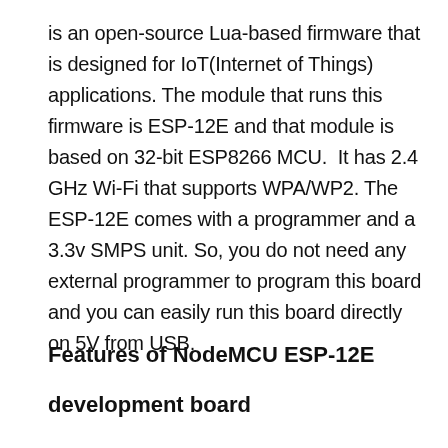is an open-source Lua-based firmware that is designed for IoT(Internet of Things) applications. The module that runs this firmware is ESP-12E and that module is based on 32-bit ESP8266 MCU.  It has 2.4 GHz Wi-Fi that supports WPA/WP2. The ESP-12E comes with a programmer and a 3.3v SMPS unit. So, you do not need any external programmer to program this board and you can easily run this board directly on 5V from USB.
Features of NodeMCU ESP-12E
development board